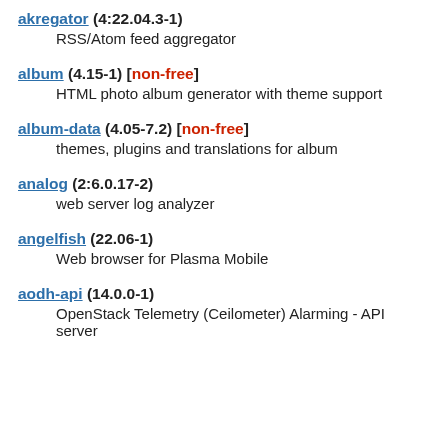akregator (4:22.04.3-1)
  RSS/Atom feed aggregator
album (4.15-1) [non-free]
  HTML photo album generator with theme support
album-data (4.05-7.2) [non-free]
  themes, plugins and translations for album
analog (2:6.0.17-2)
  web server log analyzer
angelfish (22.06-1)
  Web browser for Plasma Mobile
aodh-api (14.0.0-1)
  OpenStack Telemetry (Ceilometer) Alarming - API server